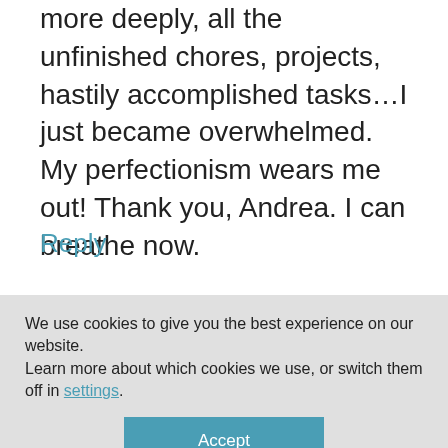more deeply, all the unfinished chores, projects, hastily accomplished tasks…I just became overwhelmed. My perfectionism wears me out! Thank you, Andrea. I can breathe now.
Reply
Marie says
We use cookies to give you the best experience on our website.
Learn more about which cookies we use, or switch them off in settings.
Accept
throw something together and call it